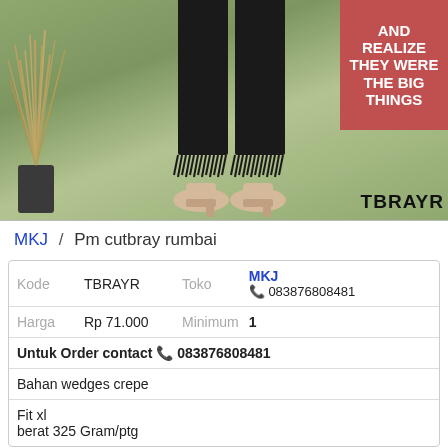[Figure (photo): Product photo showing a person wearing black wide-leg fringe pants and beige platform heels, standing on a green fabric background with dried grass plant on the left and a pink sign reading 'AND REALIZE THEY WERE THE BIG THINGS' on the right. Watermark 'TBRAYR' at bottom right.]
MKJ / Pm cutbray rumbai
| Kode | TBRAYR | Toko | MKJ
📞 083876808481 |
| Harga | Rp 71.000 | Minimum | 1 |
| Untuk Order contact 📞 083876808481 |
| Bahan wedges crepe |
| Fit xl
berat 325 Gram/ptg |